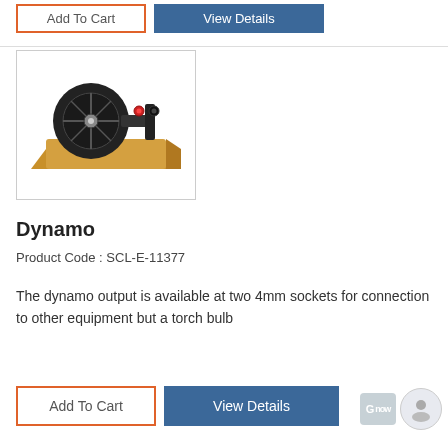[Figure (photo): A dynamo device mounted on a wooden base, with a black circular wheel/disc and red and black 4mm socket connectors on top.]
Dynamo
Product Code : SCL-E-11377
The dynamo output is available at two 4mm sockets for connection to other equipment but a torch bulb